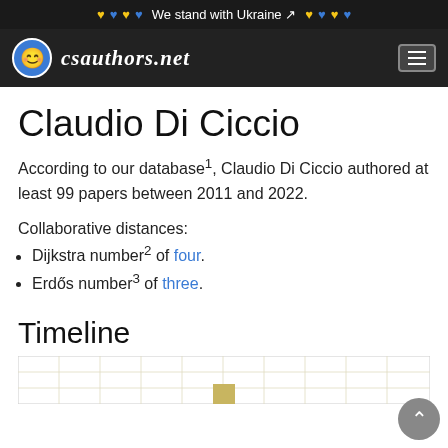❤ 💙 ❤ 💙 We stand with Ukraine 🔗 ❤ 💙 ❤ 💙
csauthors.net
Claudio Di Ciccio
According to our database1, Claudio Di Ciccio authored at least 99 papers between 2011 and 2022.
Collaborative distances:
Dijkstra number2 of four.
Erdős number3 of three.
Timeline
[Figure (bar-chart): Timeline bar chart partially visible at bottom of page, showing publication years and paper counts for Claudio Di Ciccio]